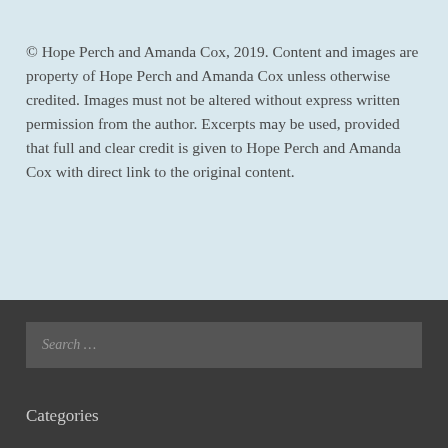© Hope Perch and Amanda Cox, 2019. Content and images are property of Hope Perch and Amanda Cox unless otherwise credited. Images must not be altered without express written permission from the author. Excerpts may be used, provided that full and clear credit is given to Hope Perch and Amanda Cox with direct link to the original content.
Search …
Categories